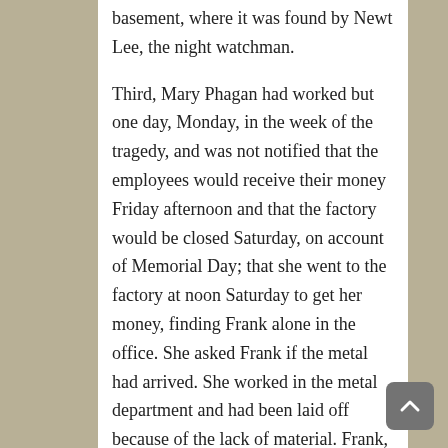basement, where it was found by Newt Lee, the night watchman.
Third, Mary Phagan had worked but one day, Monday, in the week of the tragedy, and was not notified that the employees would receive their money Friday afternoon and that the factory would be closed Saturday, on account of Memorial Day; that she went to the factory at noon Saturday to get her money, finding Frank alone in the office. She asked Frank if the metal had arrived. She worked in the metal department and had been laid off because of the lack of material. Frank, the State will claim, probably enticed the girl back into the factory by remarking that they would go back and see if the metal had come.
Fourth. That Frank had ordered Newt Lee to report for duty at 4 o'clock in the afternoon,